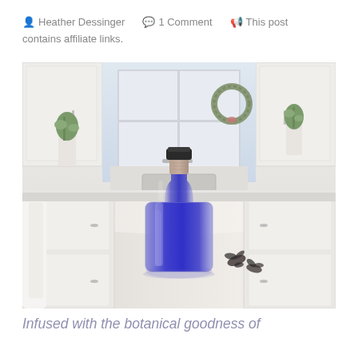Heather Dessinger   1 Comment   This post contains affiliate links.
[Figure (photo): A clear glass bottle with a cork and black cap, filled with vivid blue/purple liquid, sitting on a white kitchen countertop. Dried butterfly pea flowers rest beside the bottle. White kitchen cabinets and a window with a wreath are visible in the background.]
Infused with the botanical goodness of